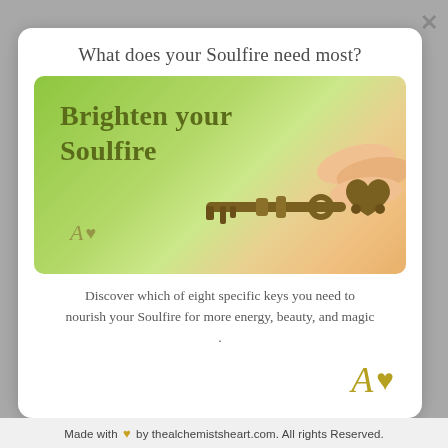What does your Soulfire need most?
[Figure (photo): Green bokeh background with a hand holding an ornate brass key and text 'Brighten your Soulfire' with small logo]
Discover which of eight specific keys you need to nourish your Soulfire for more energy, beauty, and magic .
Made with ♥ by thealchemistsheart.com. All rights Reserved.